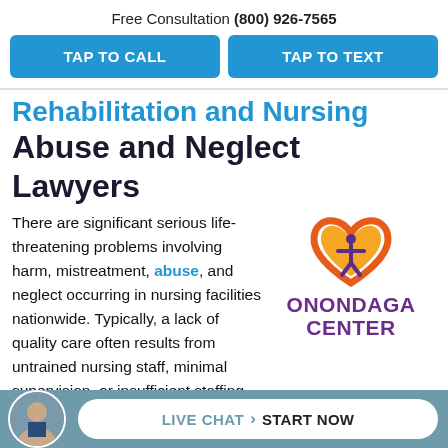Free Consultation (800) 926-7565
TAP TO CALL
TAP TO TEXT
Rehabilitation and Nursing Abuse and Neglect Lawyers
[Figure (logo): Onondaga Center logo with a heart shape and human figure, orange and yellow colors, with purple text ONONDAGA CENTER]
There are significant serious life-threatening problems involving harm, mistreatment, abuse, and neglect occurring in nursing facilities nationwide. Typically, a lack of quality care often results from untrained nursing staff, minimal supervision, or insufficient staffing
LIVE CHAT › START NOW